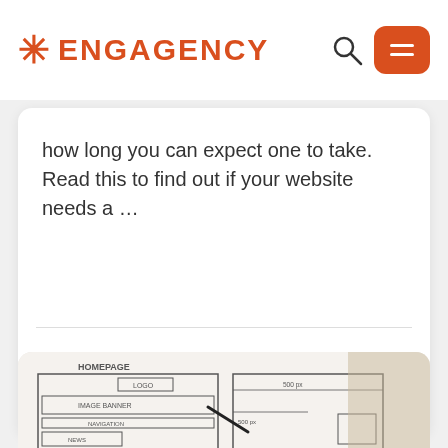ENGAGENCY
how long you can expect one to take. Read this to find out if your website needs a …
Insights
[Figure (photo): Person drawing website wireframes on paper, wearing a plaid hat and glasses, with hand-drawn homepage layout visible including labels HOMEPAGE, IMAGE BANNER, NAVIGATION, NEWS, LOGO, 500px annotations]